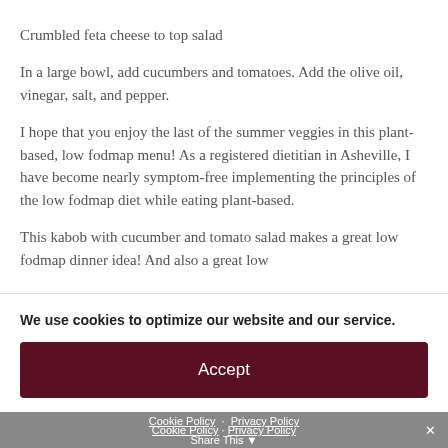Crumbled feta cheese to top salad
In a large bowl, add cucumbers and tomatoes. Add the olive oil, vinegar, salt, and pepper.
I hope that you enjoy the last of the summer veggies in this plant-based, low fodmap menu! As a registered dietitian in Asheville, I have become nearly symptom-free implementing the principles of the low fodmap diet while eating plant-based.
This kabob with cucumber and tomato salad makes a great low fodmap dinner idea! And also a great low
We use cookies to optimize our website and our service.
Accept
Cookie Policy · Privacy Policy  Share This  ✕